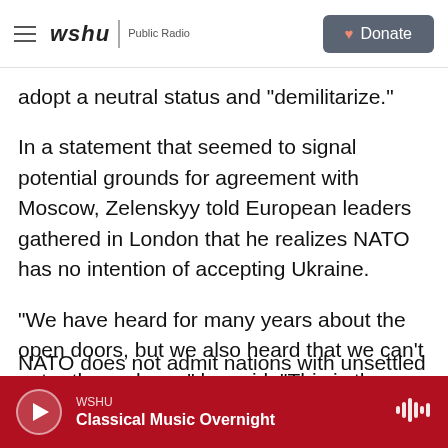wshu | Public Radio  Donate
adopt a neutral status and "demilitarize."
In a statement that seemed to signal potential grounds for agreement with Moscow, Zelenskyy told European leaders gathered in London that he realizes NATO has no intention of accepting Ukraine.
"We have heard for many years about the open doors, but we also heard that we can't enter those doors," he said. "This is the truth, and we have simply to accept it as it is."
NATO does not admit nations with unsettled
WSHU  Classical Music Overnight